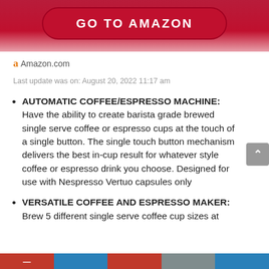[Figure (other): Red rounded button with white bold text reading GO TO AMAZON]
a Amazon.com
Last update was on: August 20, 2022 11:17 am
AUTOMATIC COFFEE/ESPRESSO MACHINE: Have the ability to create barista grade brewed single serve coffee or espresso cups at the touch of a single button. The single touch button mechanism delivers the best in-cup result for whatever style coffee or espresso drink you choose. Designed for use with Nespresso Vertuo capsules only
VERSATILE COFFEE AND ESPRESSO MAKER: Brew 5 different single serve coffee cup sizes at
[Figure (other): Bottom navigation bar with colored segments: red, blue, red, gray, blue]